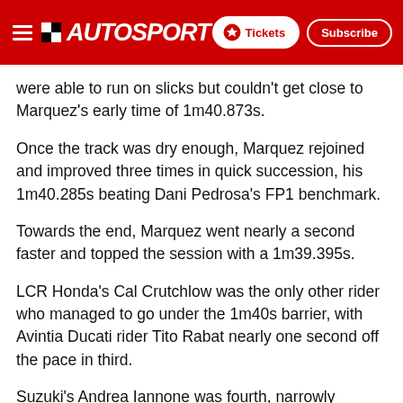AUTOSPORT — Tickets | Subscribe
were able to run on slicks but couldn't get close to Marquez's early time of 1m40.873s.
Once the track was dry enough, Marquez rejoined and improved three times in quick succession, his 1m40.285s beating Dani Pedrosa's FP1 benchmark.
Towards the end, Marquez went nearly a second faster and topped the session with a 1m39.395s.
LCR Honda's Cal Crutchlow was the only other rider who managed to go under the 1m40s barrier, with Avintia Ducati rider Tito Rabat nearly one second off the pace in third.
Suzuki's Andrea Iannone was fourth, narrowly outpacing Dani Pedrosa and the Yamaha factory duo of Maverick Vinales and Valentino Rossi.